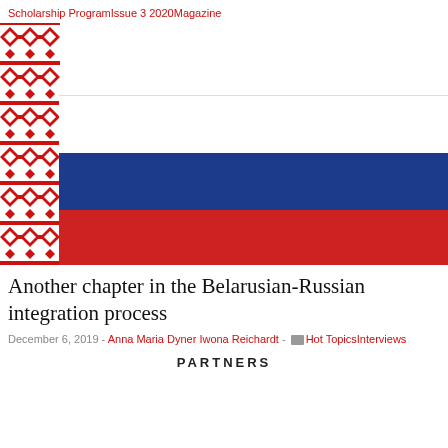Scholarship ProgramIssue 3 2020Magazine
[Figure (illustration): Composite image combining the Belarusian traditional red-and-white ornament vertical strip on the left with the Russian tricolor flag (white, blue, red horizontal stripes) on the right portion.]
Another chapter in the Belarusian-Russian integration process
December 6, 2019 - Anna Maria Dyner Iwona Reichardt - Hot TopicsInterviews
PARTNERS